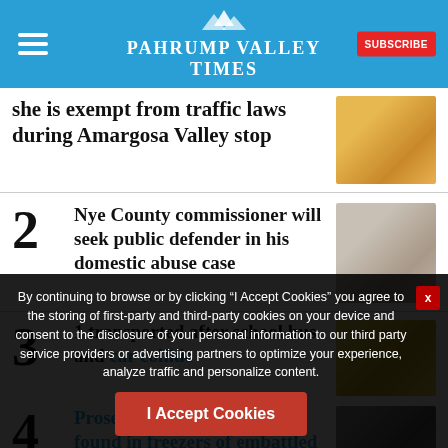Pahrump Valley Times
she is exempt from traffic laws during Amargosa Valley stop
2 Nye County commissioner will seek public defender in his domestic abuse case
3 1 transported after school bus and car collide
4 Prosecutor: Dead puppies found in freezers of embattled Nye
By continuing to browse or by clicking “I Accept Cookies” you agree to the storing of first-party and third-party cookies on your device and consent to the disclosure of your personal information to our third party service providers or advertising partners to optimize your experience, analyze traffic and personalize content.
I Accept Cookies